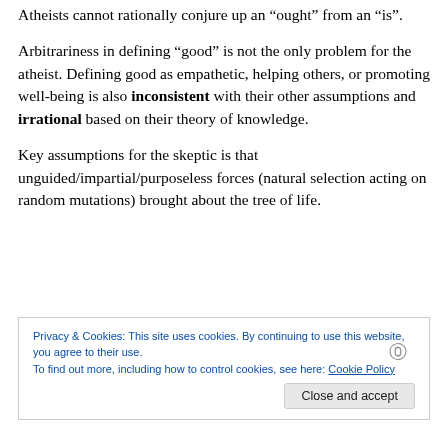Atheists cannot rationally conjure up an “ought” from an “is”.
Arbitrariness in defining “good” is not the only problem for the atheist. Defining good as empathetic, helping others, or promoting well-being is also inconsistent with their other assumptions and irrational based on their theory of knowledge.
Key assumptions for the skeptic is that unguided/impartial/purposeless forces (natural selection acting on random mutations) brought about the tree of life.
Privacy & Cookies: This site uses cookies. By continuing to use this website, you agree to their use.
To find out more, including how to control cookies, see here: Cookie Policy